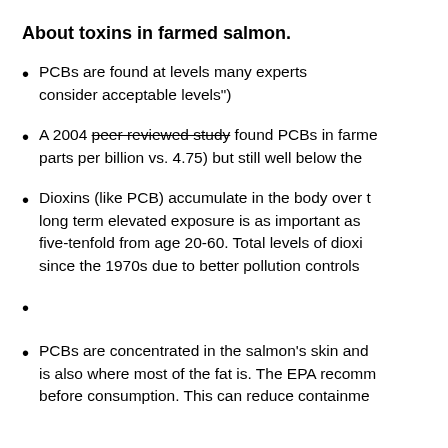About toxins in farmed salmon.
PCBs are found at levels many experts consider acceptable levels")
A 2004 peer reviewed study found PCBs in farmed parts per billion vs. 4.75) but still well below the
Dioxins (like PCB) accumulate in the body over t long term elevated exposure is as important as five-tenfold from age 20-60. Total levels of dioxi since the 1970s due to better pollution controls
PCBs are concentrated in the salmon’s skin and is also where most of the fat is. The EPA recomm before consumption. This can reduce containme